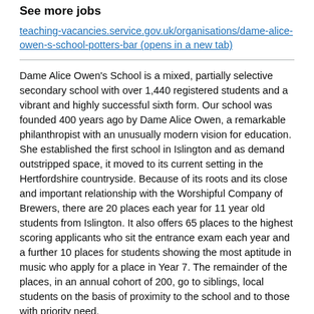See more jobs
teaching-vacancies.service.gov.uk/organisations/dame-alice-owen-s-school-potters-bar (opens in a new tab)
Dame Alice Owen's School is a mixed, partially selective secondary school with over 1,440 registered students and a vibrant and highly successful sixth form. Our school was founded 400 years ago by Dame Alice Owen, a remarkable philanthropist with an unusually modern vision for education. She established the first school in Islington and as demand outstripped space, it moved to its current setting in the Hertfordshire countryside. Because of its roots and its close and important relationship with the Worshipful Company of Brewers, there are 20 places each year for 11 year old students from Islington. It also offers 65 places to the highest scoring applicants who sit the entrance exam each year and a further 10 places for students showing the most aptitude in music who apply for a place in Year 7. The remainder of the places, in an annual cohort of 200, go to siblings, local students on the basis of proximity to the school and to those with priority need.